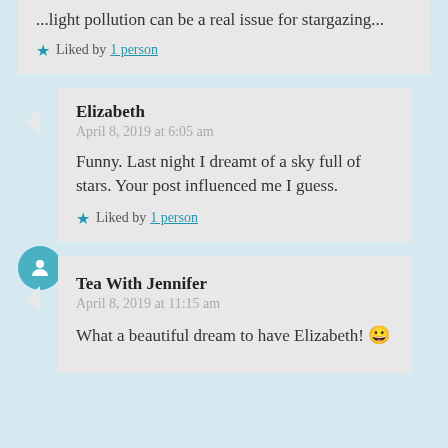...light pollution can be a real issue for stargazing...
★ Liked by 1 person
Elizabeth
April 8, 2019 at 6:05 am
Funny. Last night I dreamt of a sky full of stars. Your post influenced me I guess.
★ Liked by 1 person
Tea With Jennifer
April 8, 2019 at 11:15 am
What a beautiful dream to have Elizabeth! 😀